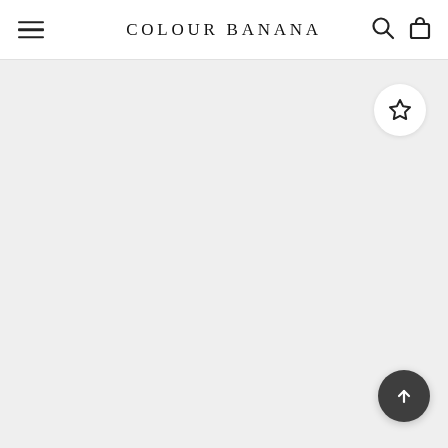COLOUR BANANA
[Figure (screenshot): E-commerce product page screenshot showing the Colour Banana website with a navigation bar at top containing hamburger menu, logo, search and bag icons, and a large light grey product image area with a wishlist star button and a back-to-top arrow button.]